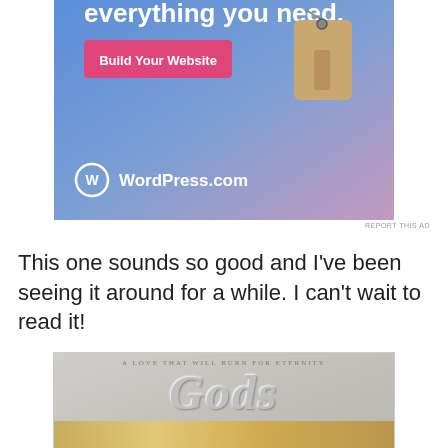[Figure (illustration): WordPress.com advertisement with blue-purple gradient background, a price tag illustration, pink 'Build Your Website' button, and WordPress logo with 'WordPress.com' text]
REPORT THIS AD
This one sounds so good and I've been seeing it around for a while. I can't wait to read it!
[Figure (illustration): Book cover showing 'Gods' in large silver chrome lettering with subtitle 'A LOVE THAT WILL BURN FOR ETERNITY', decorated with golden mythological elements including birds, roses, and ornate flourishes on a gray background]